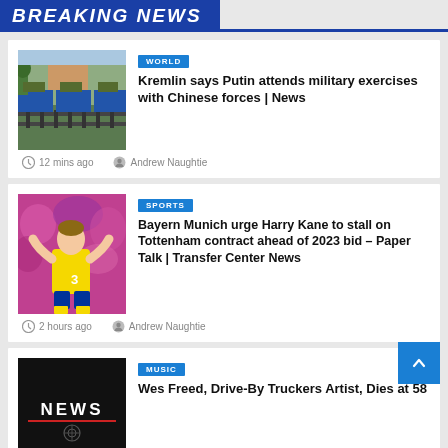BREAKING NEWS
[Figure (photo): Military trains carrying vehicles/equipment, outdoors]
WORLD
Kremlin says Putin attends military exercises with Chinese forces | News
12 mins ago   Andrew Naughtie
[Figure (photo): Soccer player in yellow Chelsea jersey celebrating]
SPORTS
Bayern Munich urge Harry Kane to stall on Tottenham contract ahead of 2023 bid – Paper Talk | Transfer Center News
2 hours ago   Andrew Naughtie
[Figure (photo): Black card with NEWS text and logo]
MUSIC
Wes Freed, Drive-By Truckers Artist, Dies at 58
2 hours ago   Andrew Naughtie